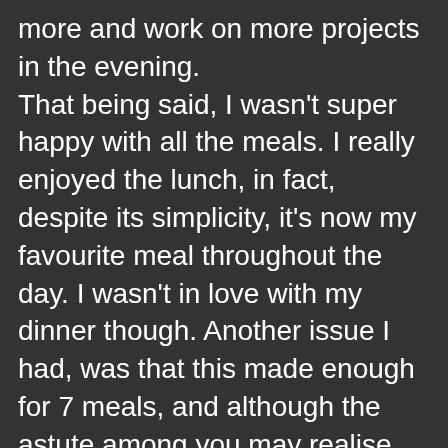more and work on more projects in the evening. That being said, I wasn't super happy with all the meals. I really enjoyed the lunch, in fact, despite its simplicity, it's now my favourite meal throughout the day. I wasn't in love with my dinner though. Another issue I had, was that this made enough for 7 meals, and although the astute among you may realise this is the amount of days in the week, it's terrible to divide into. If I made 3 containers I had to split across days, and it was quite